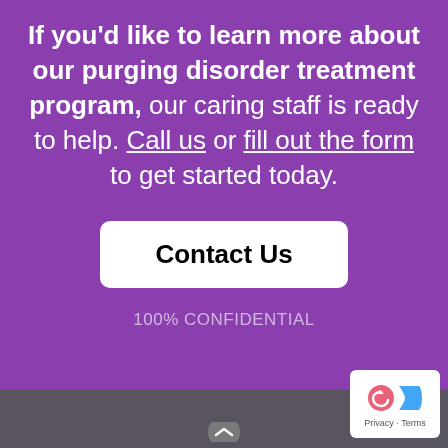If you'd like to learn more about our purging disorder treatment program, our caring staff is ready to help. Call us or fill out the form to get started today.
[Figure (other): White rounded rectangle button with bold black text 'Contact Us']
100% CONFIDENTIAL
[Figure (logo): Google privacy badge with pink circle arrow icon, blue G logo, and 'Privacy - Terms' text]